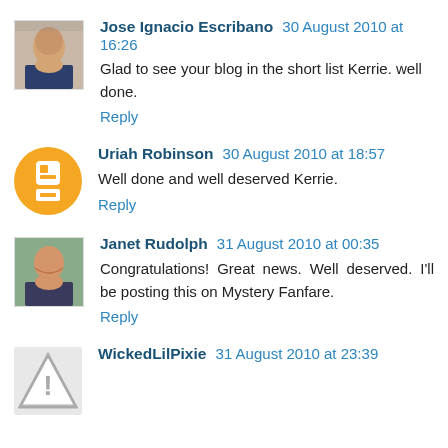[Figure (photo): Avatar photo of Jose Ignacio Escribano, an older man in a suit]
Jose Ignacio Escribano 30 August 2010 at 16:26
Glad to see your blog in the short list Kerrie. well done.
Reply
[Figure (logo): Blogger orange circle logo icon for Uriah Robinson]
Uriah Robinson 30 August 2010 at 18:57
Well done and well deserved Kerrie.
Reply
[Figure (photo): Avatar photo of Janet Rudolph, a woman smiling]
Janet Rudolph 31 August 2010 at 00:35
Congratulations! Great news. Well deserved. I'll be posting this on Mystery Fanfare.
Reply
[Figure (illustration): Alert/warning triangle icon placeholder for WickedLilPixie]
WickedLilPixie 31 August 2010 at 23:39